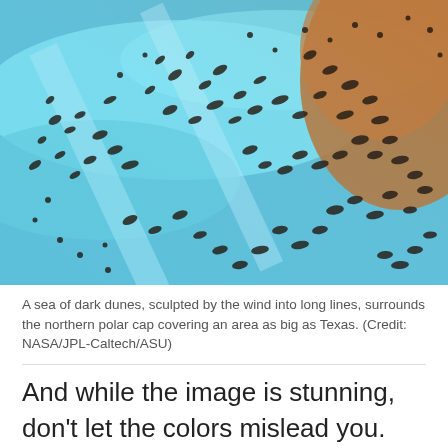[Figure (photo): Aerial/satellite false-color image of dark sand dunes on Mars, showing patterns of dark brown/black dunes scattered across a bright turquoise-blue surface, with brownish-orange areas on the right side.]
A sea of dark dunes, sculpted by the wind into long lines, surrounds the northern polar cap covering an area as big as Texas. (Credit: NASA/JPL-Caltech/ASU)
And while the image is stunning, don't let the colors mislead you. NASA said the image is a false-color image, and that the blue represents cooler temperatures while the yellows and oranges represent warmer temperatures.